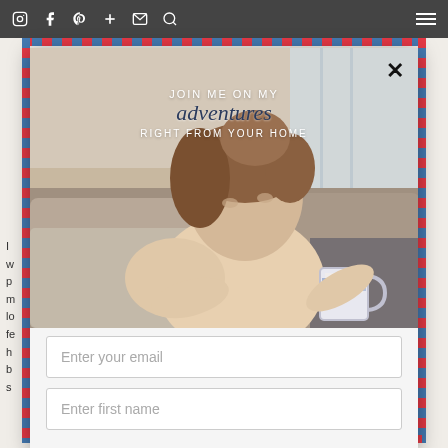Navigation bar with social icons: Instagram, Facebook, Pinterest, Plus, Email, Search, and hamburger menu
[Figure (photo): Email newsletter signup modal popup with airmail border. Contains a photo of a young woman sitting on a couch holding a cup, with text overlay 'JOIN ME ON MY adventures RIGHT FROM YOUR HOME'. Below the photo are two form fields: 'Enter your email' and 'Enter first name'.]
JOIN ME ON MY
adventures
RIGHT FROM YOUR HOME
Enter your email
Enter first name